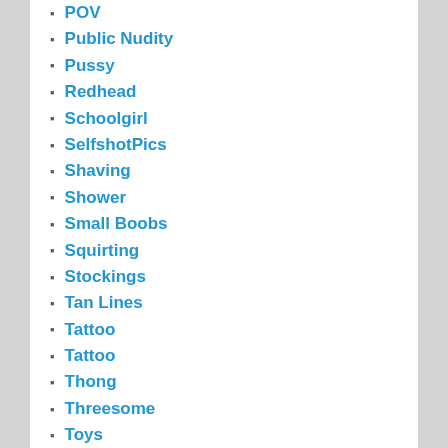POV
Public Nudity
Pussy
Redhead
Schoolgirl
SelfshotPics
Shaving
Shower
Small Boobs
Squirting
Stockings
Tan Lines
Tattoo
Tattoo
Thong
Threesome
Toys
Uncategorized
Upskirt
Video
Webcam